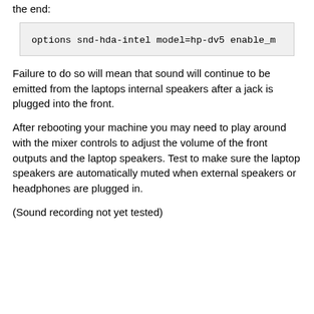the end:
Failure to do so will mean that sound will continue to be emitted from the laptops internal speakers after a jack is plugged into the front.
After rebooting your machine you may need to play around with the mixer controls to adjust the volume of the front outputs and the laptop speakers. Test to make sure the laptop speakers are automatically muted when external speakers or headphones are plugged in.
(Sound recording not yet tested)